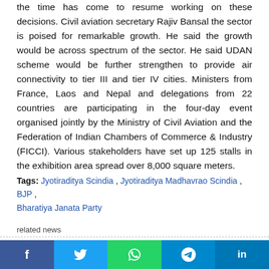the time has come to resume working on these decisions. Civil aviation secretary Rajiv Bansal the sector is poised for remarkable growth. He said the growth would be across spectrum of the sector. He said UDAN scheme would be further strengthen to provide air connectivity to tier III and tier IV cities. Ministers from France, Laos and Nepal and delegations from 22 countries are participating in the four-day event organised jointly by the Ministry of Civil Aviation and the Federation of Indian Chambers of Commerce & Industry (FICCI). Various stakeholders have set up 125 stalls in the exhibition area spread over 8,000 square meters.
Tags: Jyotiraditya Scindia , Jyotiraditya Madhavrao Scindia , BJP , Bharatiya Janata Party
related news
25-Aug-2022 New Delhi
President Droupadi Murmu asks IAS officers to reach out to underprivileged